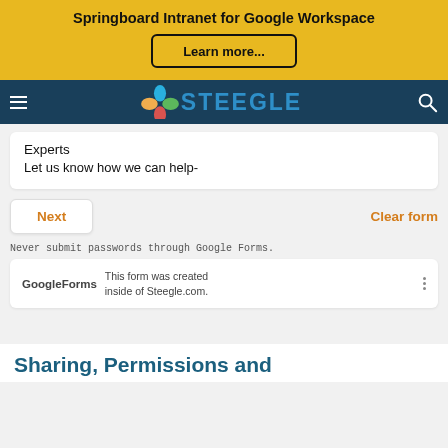Springboard Intranet for Google Workspace
Learn more...
[Figure (logo): Steegle logo with colorful flower petals and blue STEEGLE text on dark navy navigation bar]
Experts
Let us know how we can help-
Next
Clear form
Never submit passwords through Google Forms.
This form was created inside of Steegle.com.
Sharing, Permissions and